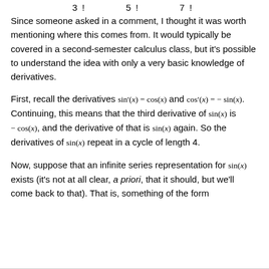3!   5!   7!
Since someone asked in a comment, I thought it was worth mentioning where this comes from. It would typically be covered in a second-semester calculus class, but it's possible to understand the idea with only a very basic knowledge of derivatives.
First, recall the derivatives sin′(x) = cos(x) and cos′(x) = − sin(x). Continuing, this means that the third derivative of sin(x) is − cos(x), and the derivative of that is sin(x) again. So the derivatives of sin(x) repeat in a cycle of length 4.
Now, suppose that an infinite series representation for sin(x) exists (it's not at all clear, a priori, that it should, but we'll come back to that). That is, something of the form